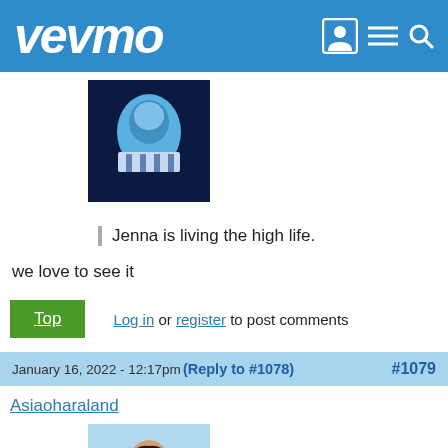vevmo
[Figure (photo): Avatar image of a person in a blue costume/outfit on dark background]
Jenna is living the high life.
we love to see it
Top   Log in or register to post comments
January 16, 2022 - 12:17pm (Reply to #1078)   #1079
Asiaoharaland
[Figure (photo): Avatar image of a woman with long dark hair in a black sports bra on light blue background]